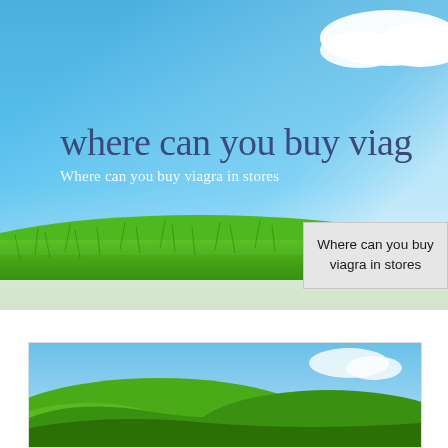[Figure (illustration): Header banner with blue sky gradient and green grass at the bottom, white cloud in upper right corner]
where can you buy viag
Where can you buy viagra in stores
Where can you buy viagra in stores
[Figure (photo): Green rolling hills landscape with blue sky]